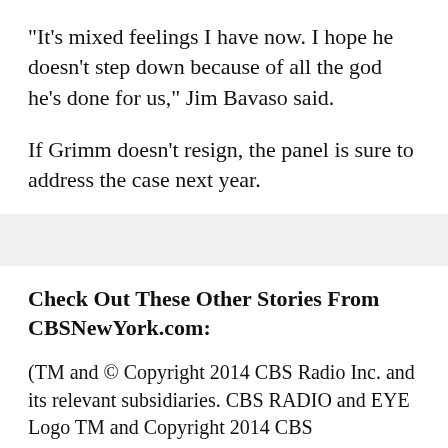"It's mixed feelings I have now. I hope he doesn't step down because of all the god he's done for us," Jim Bavaso said.
If Grimm doesn't resign, the panel is sure to address the case next year.
Check Out These Other Stories From CBSNewYork.com:
(TM and © Copyright 2014 CBS Radio Inc. and its relevant subsidiaries. CBS RADIO and EYE Logo TM and Copyright 2014 CBS Broadcasting Inc. Used under license. All Rights Reserved. This material may not be published, broadcast, rewritten...